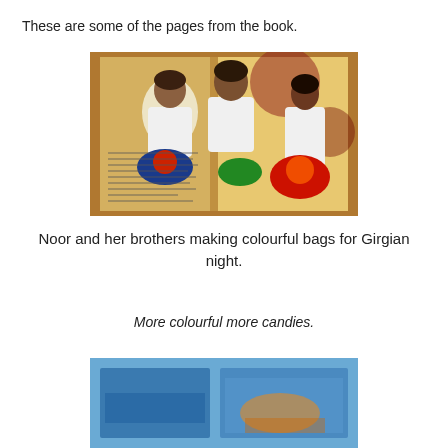These are some of the pages from the book.
[Figure (photo): Open illustrated book showing children making colourful bags, with painted illustrations of three children working on decorated bags on a patterned floor, with text visible on the left page.]
Noor and her brothers making colourful bags for Girgian night.
More colourful more candies.
[Figure (photo): Partial view of another book page, showing blue and colorful illustrated content at the bottom of the page.]